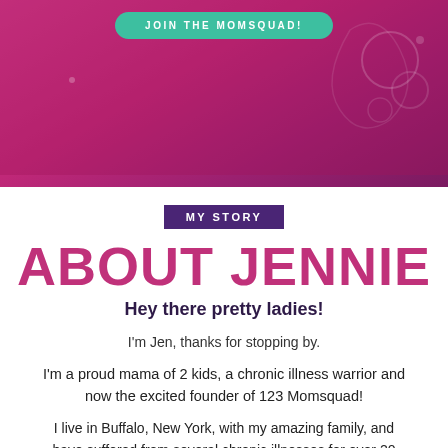[Figure (photo): Hero banner with pink/magenta gradient background showing decorative elements, with a teal 'JOIN THE MOMSQUAD!' button at top]
MY STORY
ABOUT JENNIE
Hey there pretty ladies!
I'm Jen, thanks for stopping by.
I'm a proud mama of 2 kids, a chronic illness warrior and now the excited founder of 123 Momsquad!
I live in Buffalo, New York, with my amazing family, and have suffered from several chronic illnesses for over 20